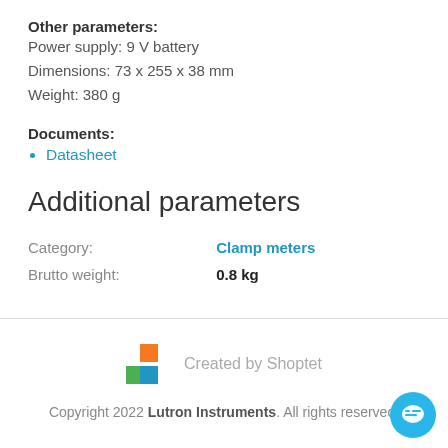Other parameters:
Power supply: 9 V battery
Dimensions: 73 x 255 x 38 mm
Weight: 380 g
Documents:
Datasheet
Additional parameters
|  |  |
| --- | --- |
| Category: | Clamp meters |
| Brutto weight: | 0.8 kg |
[Figure (logo): Shoptet logo — colored squares (orange, blue, green) with text 'Created by Shoptet']
Copyright 2022 Lutron Instruments. All rights reserved.